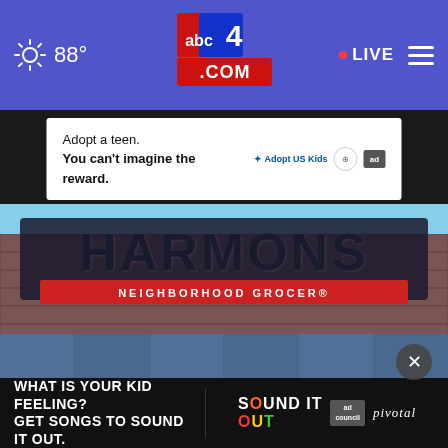abc4.com — 88° — LIVE
[Figure (screenshot): Advertisement banner: Adopt a teen. You can't imagine the reward. AdoptUSKids logo, HHS logo, ad badge]
[Figure (photo): Exterior photo of Harmons Neighborhood Grocer store building with brick facade and large sign]
[Figure (screenshot): Advertisement banner: WHAT IS YOUR KID FEELING? GET SONGS TO SOUND IT OUT. Sound It Out logo, Ad Council badge, Pivotal branding]